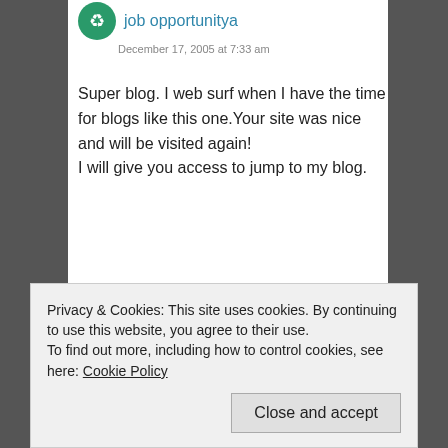December 17, 2005 at 7:33 am
Super blog. I web surf when I have the time for blogs like this one.Your site was nice and will be visited again!
I will give you access to jump to my blog.
Like
Reply
Leave a Reply
Your email address will not be published. Required
Privacy & Cookies: This site uses cookies. By continuing to use this website, you agree to their use.
To find out more, including how to control cookies, see here: Cookie Policy
Close and accept